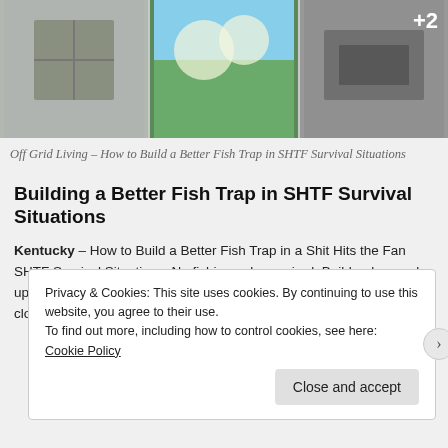[Figure (photo): Three images in a horizontal strip showing fish trap related content. The third image has a '+2' overlay badge.]
Off Grid Living – How to Build a Better Fish Trap in SHTF Survival Situations
Building a Better Fish Trap in SHTF Survival Situations
Kentucky – How to Build a Better Fish Trap in a Shit Hits the Fan SHTF Survival Situations. No fishing pole required. Build a dammed up pool with rocks. Chase fish into the open mouth and then pile rocks closer and closer until escape is impossible!
Privacy & Cookies: This site uses cookies. By continuing to use this website, you agree to their use.
To find out more, including how to control cookies, see here: Cookie Policy